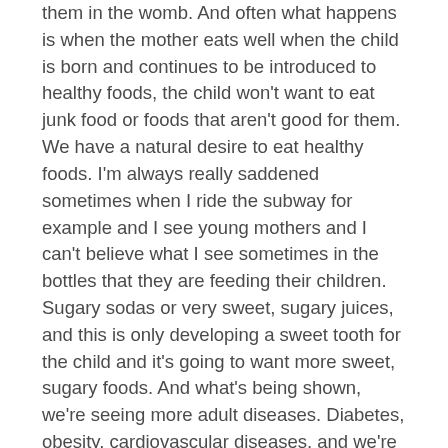them in the womb. And often what happens is when the mother eats well when the child is born and continues to be introduced to healthy foods, the child won't want to eat junk food or foods that aren't good for them. We have a natural desire to eat healthy foods. I'm always really saddened sometimes when I ride the subway for example and I see young mothers and I can't believe what I see sometimes in the bottles that they are feeding their children. Sugary sodas or very sweet, sugary juices, and this is only developing a sweet tooth for the child and it's going to want more sweet, sugary foods. And what's being shown, we're seeing more adult diseases. Diabetes, obesity, cardiovascular diseases, and we're seeing them younger and younger in children. It's so important. Nutrition is really everything.
I have a number of friends that recently have had difficulty with their children having ear infections, and I'm always so upset when I hear about any child that's sick. Children shouldn't be sick. They should feel good, they should play, they should be happy and when they have pain, it really just breaks my heart and what's really difficult for me is that a lot of it is unnecessary. People don't